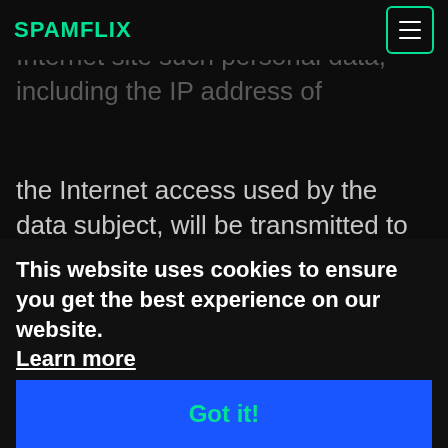SPAMFLIX
data subject. With each visit to our Internet site such personal data, including the IP address of the Internet access used by the data subject, will be transmitted to Google in the United States of America. These personal data are stored by Google in the United States of America. Google may pass these personal data collected through the technical procedure to third parties.
The data subject may, as stated above, prevent the setting of cookies through our website at any time by means of a corresponding adjustment of the web browser used and thus permanently deny the setting of cookies. Such an adjustment to the Internet browser used would also prevent Google Analytics from setting a cookie on the information technology
This website uses cookies to ensure you get the best experience on our website. Learn more
Got it!